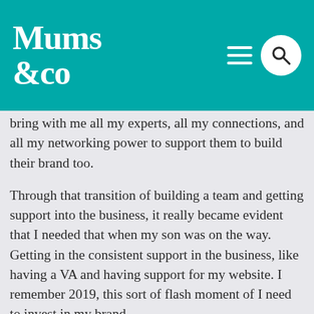Mums &co
bring with me all my experts, all my connections, and all my networking power to support them to build their brand too.
Through that transition of building a team and getting support into the business, it really became evident that I needed that when my son was on the way. Getting in the consistent support in the business, like having a VA and having support for my website. I remember 2019, this sort of flash moment of I need to invest in my brand.
I need to invest in my business if I'm going to ask others to invest in my services. I had been very fortunate to have a logo made by a friend. My website, I had done on WordPress myself. But it was like, no, it's time to invest in help and support so that I can grow and so that I can